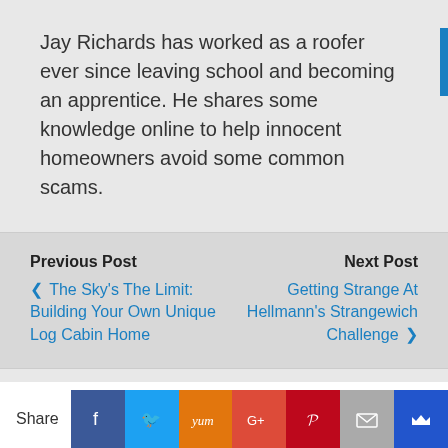Jay Richards has worked as a roofer ever since leaving school and becoming an apprentice. He shares some knowledge online to help innocent homeowners avoid some common scams.
Previous Post | ❮ The Sky's The Limit: Building Your Own Unique Log Cabin Home | Next Post | Getting Strange At Hellmann's Strangewich Challenge ❯
⇧ Back to top
This website uses cookies to improve your experience. We'll
Share